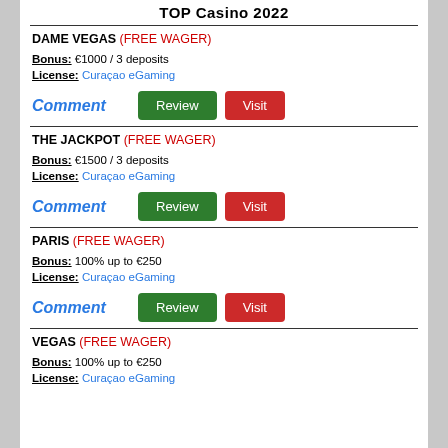TOP Casino 2022
DAME VEGAS (FREE WAGER)
Bonus: €1000 / 3 deposits
License: Curaçao eGaming
Comment | Review | Visit
THE JACKPOT (FREE WAGER)
Bonus: €1500 / 3 deposits
License: Curaçao eGaming
Comment | Review | Visit
PARIS (FREE WAGER)
Bonus: 100% up to €250
License: Curaçao eGaming
Comment | Review | Visit
VEGAS (FREE WAGER)
Bonus: 100% up to €250
License: Curaçao eGaming